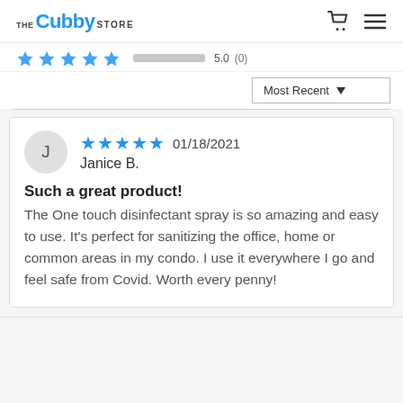THE Cubby STORE
[Figure (screenshot): Partially visible star rating bar row with blue star icons, a gray progress bar, and count placeholders (partially cropped at top)]
Most Recent ▼
★★★★★ 01/18/2021
Janice B.
Such a great product!
The One touch disinfectant spray is so amazing and easy to use. It's perfect for sanitizing the office, home or common areas in my condo. I use it everywhere I go and feel safe from Covid. Worth every penny!